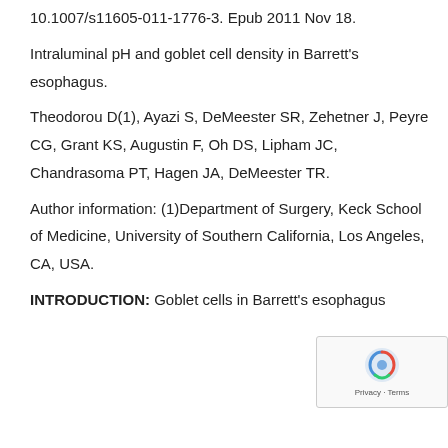10.1007/s11605-011-1776-3. Epub 2011 Nov 18.
Intraluminal pH and goblet cell density in Barrett's esophagus.
Theodorou D(1), Ayazi S, DeMeester SR, Zehetner J, Peyre CG, Grant KS, Augustin F, Oh DS, Lipham JC, Chandrasoma PT, Hagen JA, DeMeester TR.
Author information: (1)Department of Surgery, Keck School of Medicine, University of Southern California, Los Angeles, CA, USA.
INTRODUCTION: Goblet cells in Barrett's esophagus